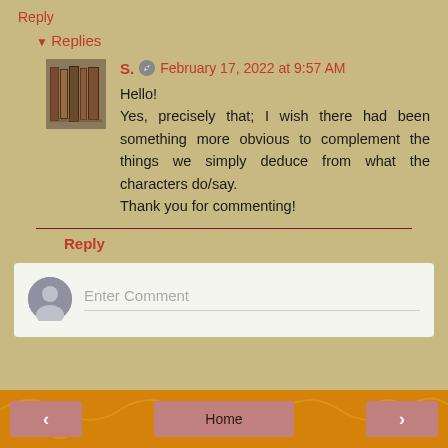Reply
Replies
S.  February 17, 2022 at 9:57 AM
Hello!
Yes, precisely that; I wish there had been something more obvious to complement the things we simply deduce from what the characters do/say.
Thank you for commenting!
Reply
Enter Comment